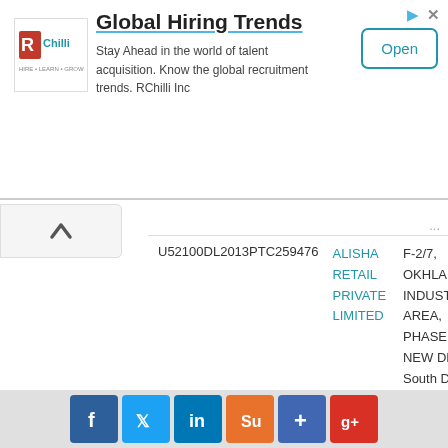[Figure (screenshot): RChilli advertisement banner for Global Hiring Trends with Open button]
| CIN | Company Name | Address |
| --- | --- | --- |
| U52100DL2013PTC259476 | ALISHA RETAIL PRIVATE LIMITED | F-2/7, OKHLA INDUSTRIAL AREA, PHASE - I, NEW DELHI South Delhi DL 110020 IN |
| U50100DL2000PTC105097 | TANDT MULTI TRADING PRIVATE LIMITED | F-85, Okhla Industrial Area Phase-I, New Delhi 110020 |
[Figure (screenshot): Social media share bar with Facebook, Twitter, LinkedIn, StumbleUpon, Delicious, Google+ icons]